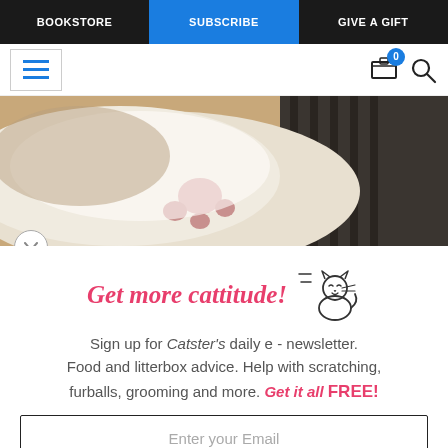BOOKSTORE | SUBSCRIBE | GIVE A GIFT
[Figure (screenshot): Navigation header with hamburger menu icon on left, cart icon with badge showing 0 and search icon on right]
[Figure (photo): Close-up photo of a cat paw resting against a ribbed surface, showing pink toe beans on white fur]
Get more cattitude!
Sign up for Catster's daily e - newsletter. Food and litterbox advice. Help with scratching, furballs, grooming and more. Get it all FREE!
Enter your Email
YES! SIGN ME UP